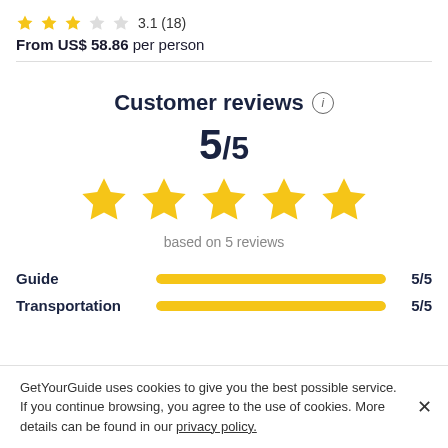3.1 (18)
From US$ 58.86 per person
Customer reviews
5/5
[Figure (other): Five gold stars rating display]
based on 5 reviews
Guide 5/5
Transportation 5/5
GetYourGuide uses cookies to give you the best possible service. If you continue browsing, you agree to the use of cookies. More details can be found in our privacy policy.